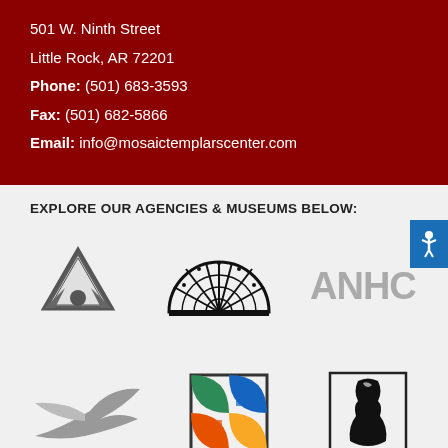501 W. Ninth Street
Little Rock, AR 72201
Phone: (501) 683-3593
Fax: (501) 682-5866
Email: info@mosaictemplarscenter.com
EXPLORE OUR AGENCIES & MUSEUMS BELOW:
[Figure (logo): Triangle/arrow logo (dark gray) - Arkansas Department of Heritage or similar agency]
[Figure (logo): Semicircular dome/fan window logo (black) - possibly Old State House or similar building]
[Figure (logo): ANHC text logo in gray - Arkansas Natural Heritage Commission]
[Figure (logo): Gray swoosh/bird wing logo]
[Figure (logo): Colorful interlocking squares logo with green, orange, blue]
[Figure (logo): Black and white silhouette logo in square frame]